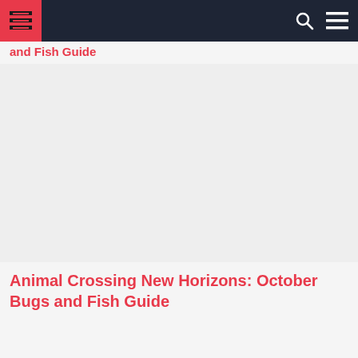Animal Crossing New Horizons: October Bugs and Fish Guide
[Figure (other): Website navigation bar with logo (red square with stylized H icon), search icon, and hamburger menu on dark navy background]
and Fish Guide
[Figure (photo): Large image placeholder area (light gray) for article hero image]
Animal Crossing New Horizons: October Bugs and Fish Guide